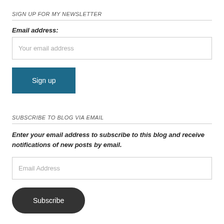SIGN UP FOR MY NEWSLETTER
Email address:
Your email address
Sign up
SUBSCRIBE TO BLOG VIA EMAIL
Enter your email address to subscribe to this blog and receive notifications of new posts by email.
Email Address
Subscribe
ENJOY THE STORY BEHIND THE SONG